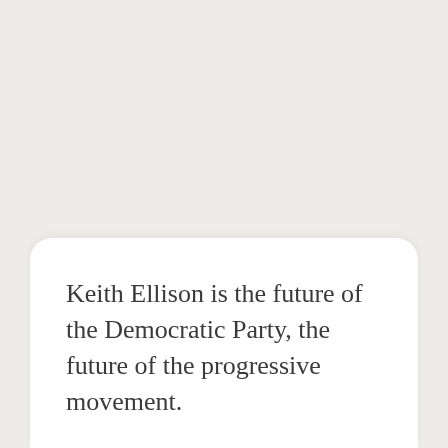Keith Ellison is the future of the Democratic Party, the future of the progressive movement.